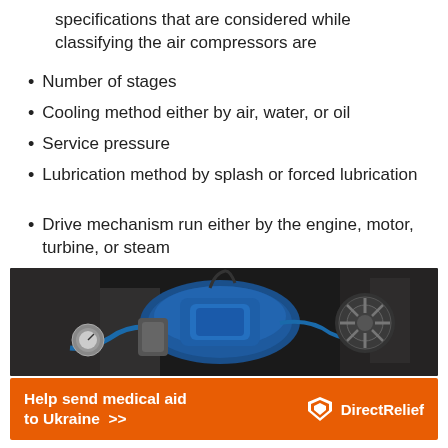specifications that are considered while classifying the air compressors are
Number of stages
Cooling method either by air, water, or oil
Service pressure
Lubrication method by splash or forced lubrication
Drive mechanism run either by the engine, motor, turbine, or steam
[Figure (photo): Photo of an air compressor unit with blue pump head, hoses, gauges, and fan, set against a dark industrial background.]
Help send medical aid to Ukraine >>  DirectRelief